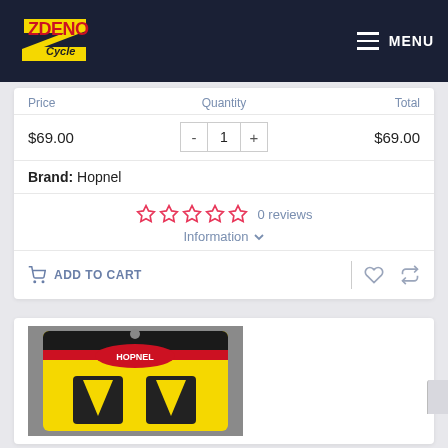[Figure (logo): Zdeno Cycle logo with red and yellow lettering on dark navy header background]
MENU
Price	Quantity	Total
$69.00	1	$69.00
Brand: Hopnel
0 reviews
Information
ADD TO CART
[Figure (photo): Hopnel product in yellow and black packaging]